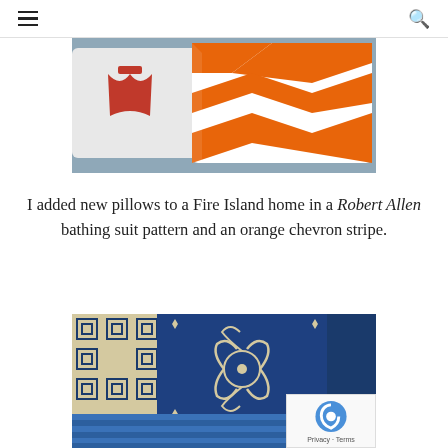☰  🔍
[Figure (photo): Close-up of decorative pillows — a white pillow with a red bathing suit print and an orange/white chevron stripe pillow on a blue-gray surface.]
I added new pillows to a Fire Island home in a Robert Allen bathing suit pattern and an orange chevron stripe.
[Figure (photo): Close-up of blue and cream decorative fabrics — an ornate navy/cream floral-scroll pattern pillow next to a geometric navy/cream print, with blue striped fabric below.]